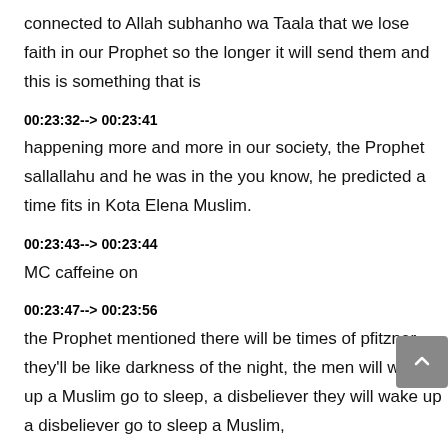connected to Allah subhanho wa Taala that we lose faith in our Prophet so the longer it will send them and this is something that is
00:23:32--> 00:23:41
happening more and more in our society, the Prophet sallallahu and he was in the you know, he predicted a time fits in Kota Elena Muslim.
00:23:43--> 00:23:44
MC caffeine on
00:23:47--> 00:23:56
the Prophet mentioned there will be times of pfitzner they'll be like darkness of the night, the men will wake up a Muslim go to sleep, a disbeliever they will wake up a disbeliever go to sleep a Muslim,